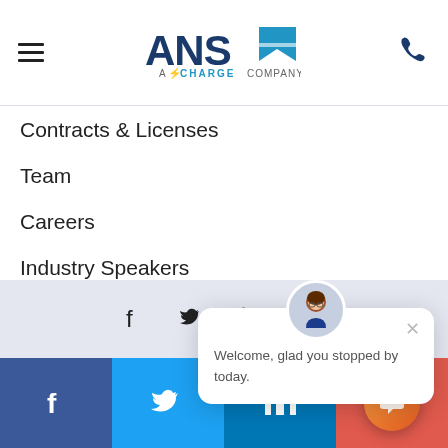ANS — A Charge Company
Contracts & Licenses
Team
Careers
Industry Speakers
WHO WE SERVE
CONTACT
[Figure (screenshot): Chat popup with avatar saying: Welcome, glad you stopped by today.]
[Figure (infographic): Gray footer bar with Facebook, Twitter, LinkedIn, YouTube social icons]
[Figure (infographic): Colored footer bar: Facebook (dark blue), Twitter (light blue), LinkedIn (blue), YouTube/extra (red-orange), each with white social icon]